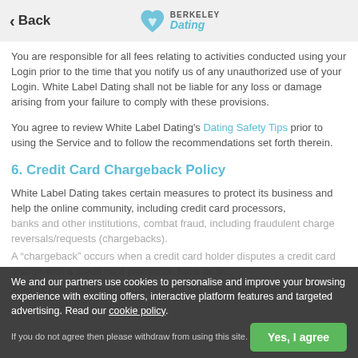Back | Berkeley Dating
You are responsible for all fees relating to activities conducted using your Login prior to the time that you notify us of any unauthorized use of your Login. White Label Dating shall not be liable for any loss or damage arising from your failure to comply with these provisions.
You agree to review White Label Dating's Dating Safety Tips prior to using the Service and to follow the recommendations set forth therein.
6. Credit Card Chargeback Policy
White Label Dating takes certain measures to protect its business and help the online community, including credit card processors,
banks and other institutions, combat fraud, including fraudulent charge reversals/requests (chargebacks).
A "chargeback" occurs when a credit card holder disputes a credit card charge with a credit card processor, bank or si...
A fraudulent chargeback occurs when the holder attempts to
We and our partners use cookies to personalise and improve your browsing experience with exciting offers, interactive platform features and targeted advertising. Read our cookie policy. If you do not agree then please withdraw from using this site.